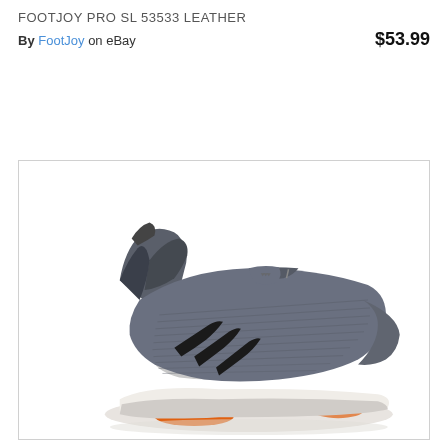FOOTJOY PRO SL 53533 LEATHER
By FootJoy on eBay  $53.99
[Figure (photo): A grey and black athletic/golf shoe with orange accents on the sole, shown from a side angle against a white background inside a bordered box. The shoe features a speckled/camo pattern on the upper and three black stripes on the side.]